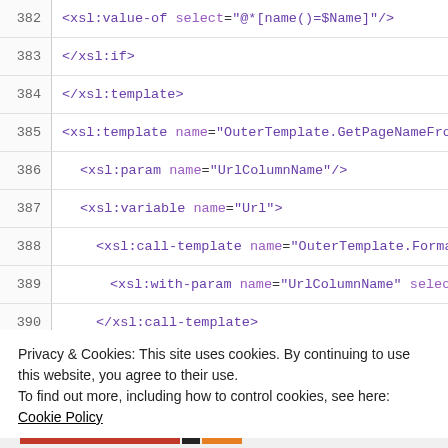382   <xsl:value-of select="@*[name()=$Name]"/>
383   </xsl:if>
384   </xsl:template>
385   <xsl:template name="OuterTemplate.GetPageNameFro
386     <xsl:param name="UrlColumnName"/>
387     <xsl:variable name="Url">
388       <xsl:call-template name="OuterTemplate.Forma
389         <xsl:with-param name="UrlColumnName" selec
390       </xsl:call-template>
391     </xsl:variable>
392     <xsl:call-template name="OuterTemplate.GetPageN
393       <xsl:with-param name="Url" select="$Url"/>
394     </xsl:call-template>
Privacy & Cookies: This site uses cookies. By continuing to use this website, you agree to their use. To find out more, including how to control cookies, see here: Cookie Policy
Close and accept